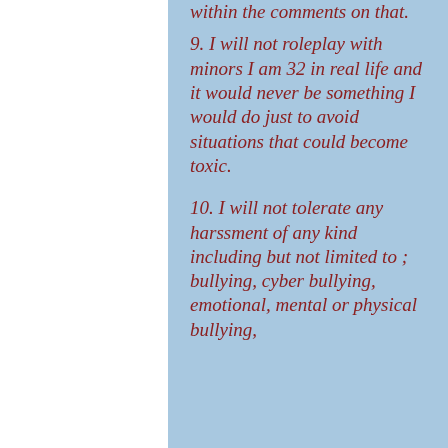within the comments on that.
9. I will not roleplay with minors I am 32 in real life and it would never be something I would do just to avoid situations that could become toxic.
10. I will not tolerate any harssment of any kind including but not limited to ; bullying, cyber bullying, emotional, mental or physical bullying,